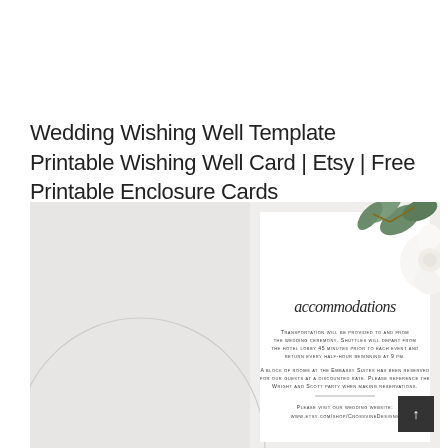Wedding Wishing Well Template Printable Wishing Well Card | Etsy | Free Printable Enclosure Cards
[Figure (photo): Photo of a wedding accommodations card with script lettering reading 'accommodations', showing transportation and hotel room block information. White envelopes, a white ranunculus flower and eucalyptus greenery are visible in the background.]